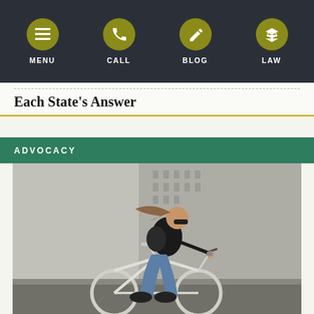MENU | CALL | BLOG | LAW
Each State's Answer
ADVOCACY
[Figure (photo): Woman with sunglasses riding a white bicycle on a city street, wearing a black t-shirt and ripped blue jeans, with a blurred urban building in the background.]